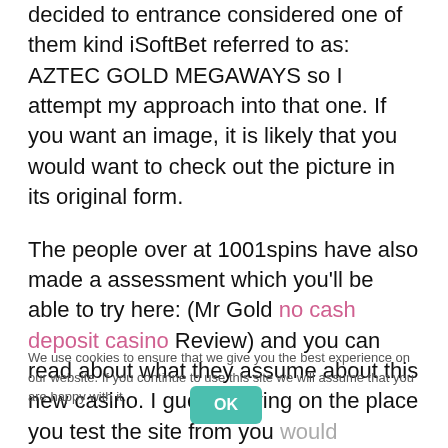decided to entrance considered one of them kind iSoftBet referred to as: AZTEC GOLD MEGAWAYS so I attempt my approach into that one. If you want an image, it is likely that you would want to check out the picture in its original form.
The people over at 1001spins have also made a assessment which you'll be able to try here: (Mr Gold no cash deposit casino Review) and you can read about what they assume about this new casino. I guess relying on the place you test the site from you would possibly get a unique look however I guess it's roughly the same. In the home video video games of the '80s and '90s, Sub explains, a participant might pay for a DVD that could present hundreds of hours of recreation play, and that consummated the
We use cookies to ensure that we give you the best experience on our website. If you continue to use this site we will assume that you are happy with it.